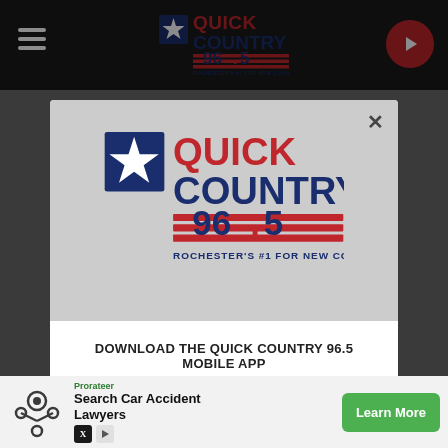[Figure (screenshot): Quick Country 96.5 website header with dark background and logo]
[Figure (logo): Quick Country 96.5 logo - star with red and blue text, red stripes, tagline ROCHESTER'S #1 FOR NEW COUNTRY]
DOWNLOAD THE QUICK COUNTRY 96.5 MOBILE APP
GET OUR FREE MOBILE APP
Also listen on:  amazon alexa
Prorateer
Search Car Accident Lawyers
Learn More